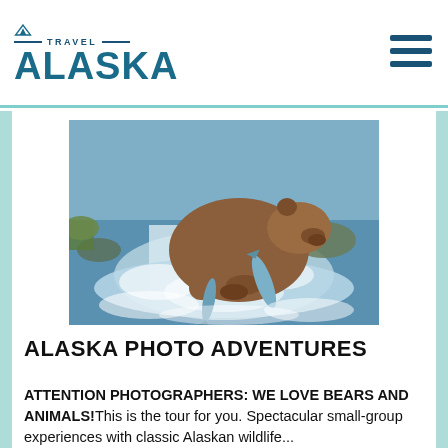TRAVEL ALASKA
[Figure (photo): A brown bear catching salmon at a waterfall, water splashing around it with fish leaping in the foreground]
ALASKA PHOTO ADVENTURES
ATTENTION PHOTOGRAPHERS: WE LOVE BEARS AND ANIMALS!This is the tour for you. Spectacular small-group experiences with classic Alaskan wildlife...